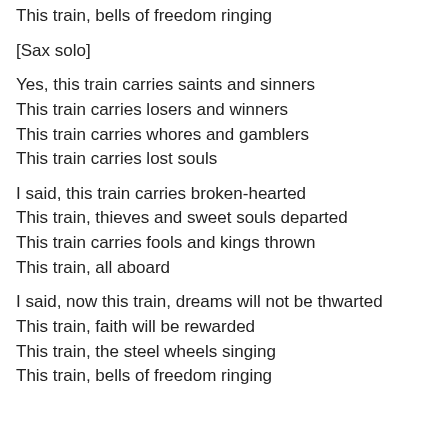This train, bells of freedom ringing
[Sax solo]
Yes, this train carries saints and sinners
This train carries losers and winners
This train carries whores and gamblers
This train carries lost souls
I said, this train carries broken-hearted
This train, thieves and sweet souls departed
This train carries fools and kings thrown
This train, all aboard
I said, now this train, dreams will not be thwarted
This train, faith will be rewarded
This train, the steel wheels singing
This train, bells of freedom ringing